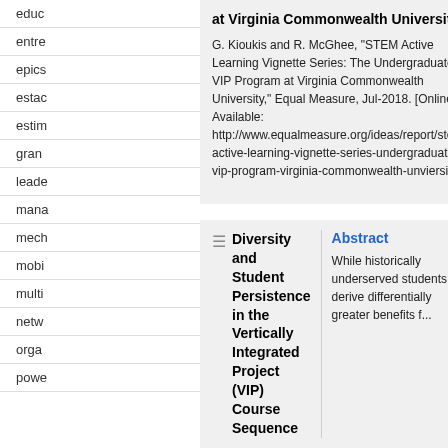educ
entre
epics
estac
estim
gran
leade
mana
mech
mobi
multi
netw
orga
powe
at Virginia Commonwealth University
G. Kioukis and R. McGhee, “STEM Active Learning Vignette Series: The Undergraduate VIP Program at Virginia Commonwealth University,” Equal Measure, Jul-2018. [Online]. Available: http://www.equalmeasure.org/ideas/report/stem-active-learning-vignette-series-undergraduate-vip-program-virginia-commonwealth-unviersity/.
grantmaking h... 2008, the Lec... M. and Harry Helmsley Charitable Tru... (...
Topic: vip
Type: Journal
Year: 2018
LINK
Diversity and Student Persistence in the Vertically Integrated Project (VIP) Course Sequence
Abstract
While historically underserved students derive differentially greater benefits f...